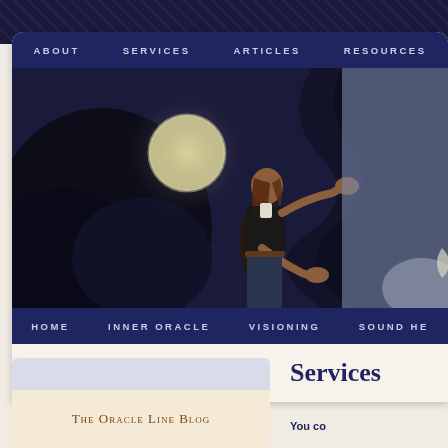[Figure (screenshot): Website screenshot showing navigation bar with ABOUT, SERVICES, ARTICLES, RESOURCES, hero image of woman pulling back a dark curtain revealing a moonlit night sky, and secondary navigation with HOME, INNER ORACLE, VISIONING, SOUND HE...]
Services
[Figure (screenshot): Blog box labeled The Oracle Line Blog]
You co